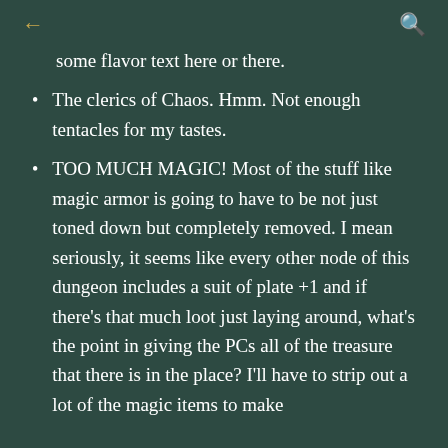← (back) | (search)
some flavor text here or there.
The clerics of Chaos. Hmm. Not enough tentacles for my tastes.
TOO MUCH MAGIC! Most of the stuff like magic armor is going to have to be not just toned down but completely removed. I mean seriously, it seems like every other node of this dungeon includes a suit of plate +1 and if there's that much loot just laying around, what's the point in giving the PCs all of the treasure that there is in the place? I'll have to strip out a lot of the magic items to make